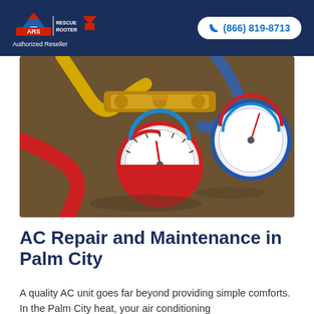ARS Rescue Rooter — Authorized Reseller | (866) 819-8713
[Figure (photo): Close-up photo of HVAC refrigerant gauges and hoses — red and blue pressure gauges with brass manifold fittings and colorful refrigerant hoses on a wet surface]
AC Repair and Maintenance in Palm City
A quality AC unit goes far beyond providing simple comforts. In the Palm City heat, your air conditioning